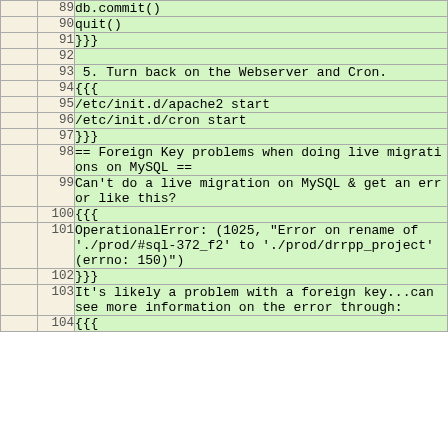|  | line | code |
| --- | --- | --- |
|  | 89 | db.commit() |
|  | 90 | quit() |
|  | 91 | }}} |
|  | 92 |  |
|  | 93 |  5. Turn back on the Webserver and Cron. |
|  | 94 | {{{ |
|  | 95 | /etc/init.d/apache2 start |
|  | 96 | /etc/init.d/cron start |
|  | 97 | }}} |
|  | 98 | == Foreign Key problems when doing live migrations on MySQL == |
|  | 99 | Can't do a live migration on MySQL & get an error like this? |
|  | 100 | {{{ |
|  | 101 | OperationalError: (1025, "Error on rename of './prod/#sql-372_f2' to './prod/drrpp_project' (errno: 150)") |
|  | 102 | }}} |
|  | 103 | It's likely a problem with a foreign key...can see more information on the error through: |
|  | 104 | {{{ |